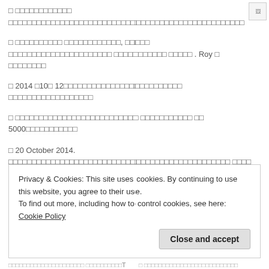□ □□□□□□□□□□□ □□□□□□□□□□□□□□□□□□□□□□□□□□□□□□□□□□□□□□□□□□□□□□□□□□
□ □□□□□□□□□□ □□□□□□□□□□□□, □□□□□ □□□□□□□□□□□□□□□□□□□□□□ □□□□□□□□□□□ □□□□□ . Roy □ □□□□□□□□
□ 2014 □10□ 12□□□□□□□□□□□□□□□□□□□□□□□□□ □□□□□□□□□□□□□□□□□□
□ □□□□□□□□□□□□□□□□□□□□□□□□□□ □□□□□□□□□□□ □□ 5000□□□□□□□□□□□
□ 20 October 2014. □□□□□□□□□□□□□□□□□□□□□□□□□□□□□□□□□□□□□□□□□□□□□□□ □□□□
□ 27 October, 2014. □□□□□□□□□□□□ □□□□□□□□□□□□□□□□□□□□□□
□ 07 Nov 2014□□□□□□□□□□□□□□□ □□□Roy□□□□□ □□□□□□□□□□□□□□□□□□□□□□□□□7□
Privacy & Cookies: This site uses cookies. By continuing to use this website, you agree to their use. To find out more, including how to control cookies, see here: Cookie Policy
Close and accept